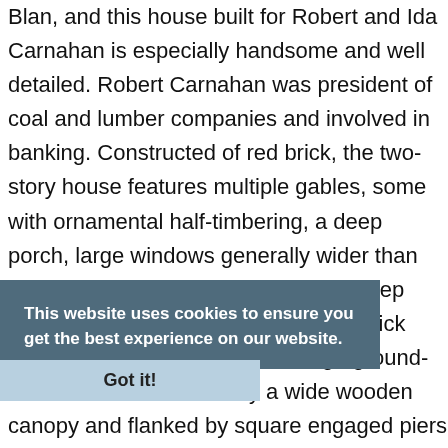Blan, and this house built for Robert and Ida Carnahan is especially handsome and well detailed. Robert Carnahan was president of coal and lumber companies and involved in banking. Constructed of red brick, the two-story house features multiple gables, some with ornamental half-timbering, a deep porch, large windows generally wider than taller, stone stringcourses and sills, deep eaves with exposed rafter tails, and brick chimneys with corbeling. The large ground-floor window is shaded by a wide wooden canopy and flanked by square engaged piers that rise above the canopy and are large enough to carry planters. The entrance opens to a spacious reception hall with a large fireplace and a library to its right, and a stair hall extends beyond. The integrity of the
This website uses cookies to ensure you get the best experience on our website.
Got it!